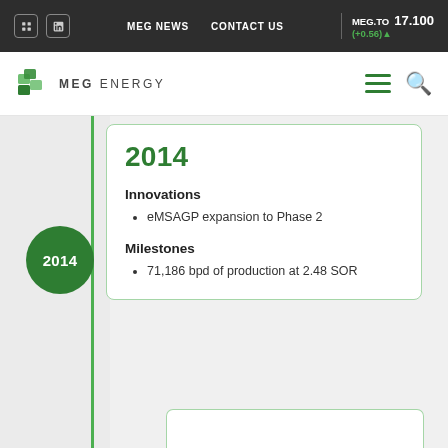MEG NEWS   CONTACT US   MEG.TO 17.100 (+0.56)▲
[Figure (logo): MEG Energy logo with stylized green cube icon and text MEG ENERGY]
2014
Innovations
eMSAGP expansion to Phase 2
Milestones
71,186 bpd of production at 2.48 SOR